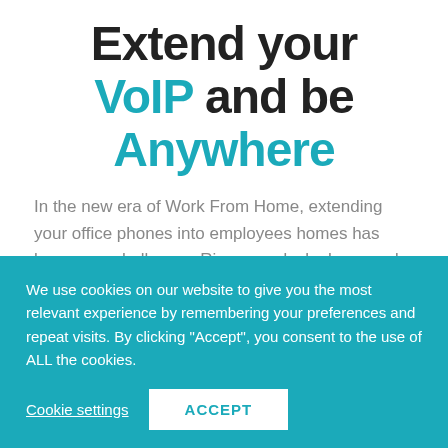Extend your VoIP and be Anywhere
In the new era of Work From Home, extending your office phones into employees homes has become a challenge.  Ring your desk phone and mobile phone at the same time!
Is it possible to have
We use cookies on our website to give you the most relevant experience by remembering your preferences and repeat visits. By clicking "Accept", you consent to the use of ALL the cookies.
Cookie settings
ACCEPT